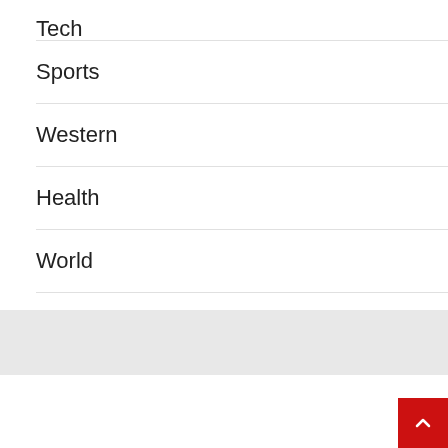Tech
Sports
Western
Health
World
Contact
YOU MISSED